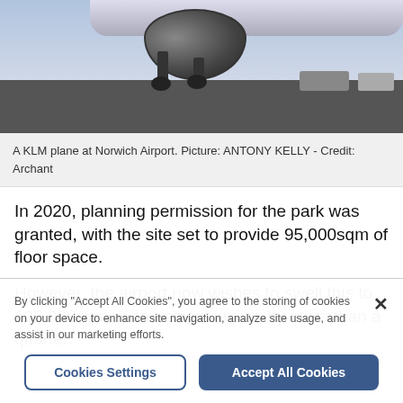[Figure (photo): A KLM plane at Norwich Airport, showing aircraft engine and landing gear, taken from below/side angle on the tarmac.]
A KLM plane at Norwich Airport. Picture: ANTONY KELLY - Credit: Archant
In 2020, planning permission for the park was granted, with the site set to provide 95,000sqm of floor space.
However, the airport now wishes to swell this to 120,000sqm, increasing it in size by more than a quarter.
By clicking "Accept All Cookies", you agree to the storing of cookies on your device to enhance site navigation, analyze site usage, and assist in our marketing efforts.